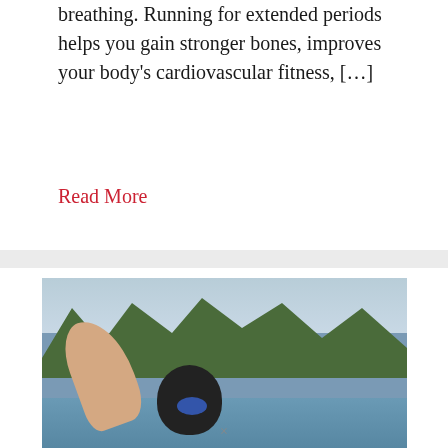breathing. Running for extended periods helps you gain stronger bones, improves your body's cardiovascular fitness, […]
Read More
[Figure (photo): A swimmer in open water with arm raised, wearing a dark swim cap and goggles, with trees and sky in the background.]